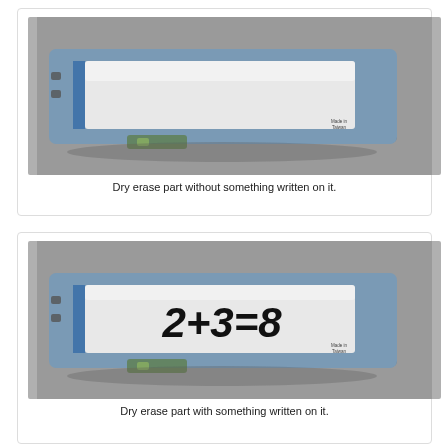[Figure (photo): A dry erase device (rectangular, blue-grey frame with white dry erase surface) photographed on a grey textured background, without any writing on the white surface. Small text reads 'Made in Taiwan' in the bottom right of the white area.]
Dry erase part without something written on it.
[Figure (photo): The same dry erase device photographed on a grey textured background, with '2+3=8' written in large black marker on the white dry erase surface.]
Dry erase part with something written on it.